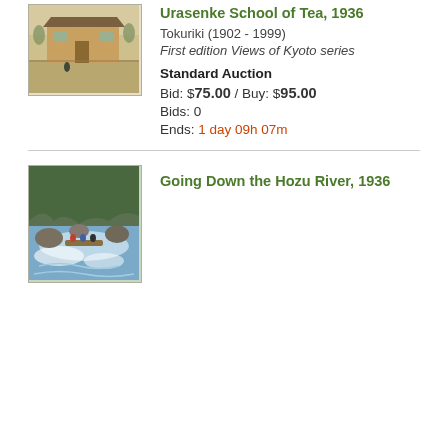[Figure (illustration): Japanese woodblock print thumbnail showing a tea school building with a figure in a courtyard, earthen tones]
Urasenke School of Tea, 1936
Tokuriki (1902 - 1999)
First edition Views of Kyoto series
Standard Auction
Bid: $75.00 / Buy: $95.00
Bids: 0
Ends: 1 day 09h 07m
[Figure (illustration): Japanese woodblock print thumbnail showing people going down the Hozu River on a raft through rapids with rocky cliffs, green and blue tones]
Going Down the Hozu River, 1936